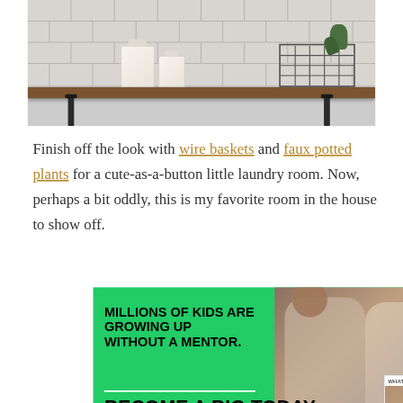[Figure (photo): A wooden shelf with white canisters and a wire basket with a plant, mounted on white tile wall in a laundry room]
Finish off the look with wire baskets and faux potted plants for a cute-as-a-button little laundry room. Now, perhaps a bit oddly, this is my favorite room in the house to show off.
[Figure (photo): Advertisement: Big Brothers Big Sisters - MILLIONS OF KIDS ARE GROWING UP WITHOUT A MENTOR. BECOME A BIG TODAY. With photo of adult and child. Below: SHE CAN STEM advertisement on dark background.]